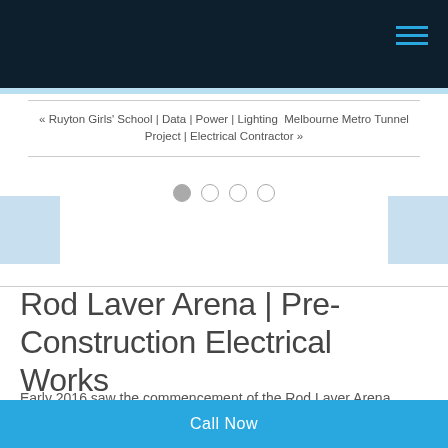Navigation header bar with hamburger menu
« Ruyton Girls' School | Data | Power | Lighting Melbourne Metro Tunnel Project | Electrical Contractor »
[Figure (other): Image slideshow area with four navigation dots and left/right arrow buttons (light blue rectangles)]
Rod Laver Arena | Pre-Construction Electrical Works
Early 2016 saw the commencement of the Rod Laver Arena upgrade and new extensions, with completion in
Call Now